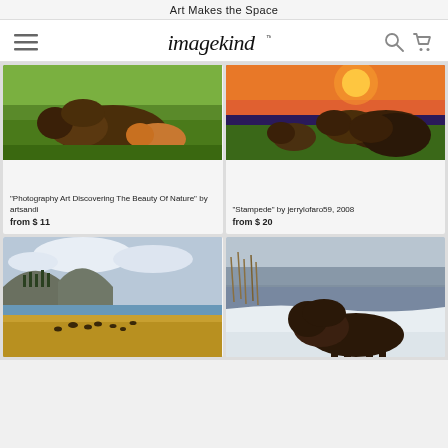Art Makes the Space
[Figure (logo): imagekind logo with hamburger menu, search and cart icons]
[Figure (photo): Bison grazing on green grass - Photography Art Discovering The Beauty Of Nature]
"Photography Art Discovering The Beauty Of Nature" by artsandi
from $ 11
[Figure (photo): Herd of bison in field at sunset - Stampede by jerrylofaro59]
"Stampede" by jerrylofaro59, 2008
from $ 20
[Figure (photo): Landscape with bison in Yellowstone valley with mountains and clouds]
[Figure (photo): Bison standing near snowy riverbank in winter]